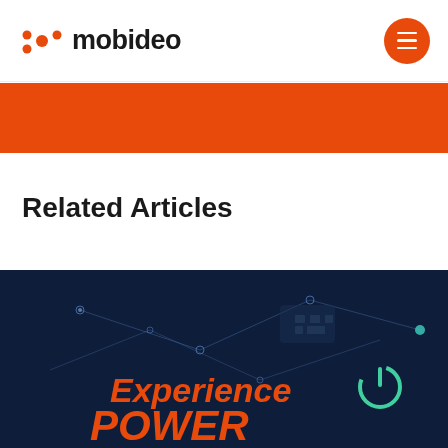mobideo
[Figure (screenshot): Orange banner/hero section bar]
Related Articles
[Figure (photo): Dark tech/network background image with text 'Experience POWER' in red italic bold font and a teal power button icon on the right]